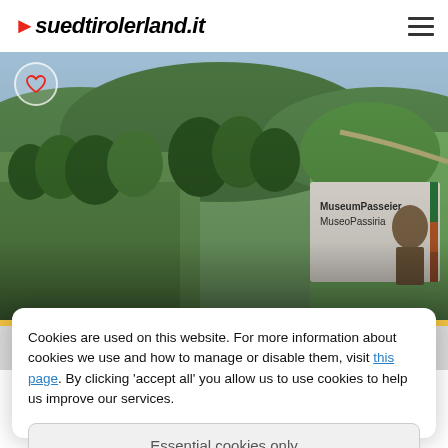suedtirolerland.it
[Figure (photo): Outdoor photo showing MuseumPasseier / MuseoPassiria sign with Andreas Hofer figure, alpine landscape with green hills and trees in background]
MuseumPasseier - Andreas Hofer
Cookies are used on this website. For more information about cookies we use and how to manage or disable them, visit this page. By clicking 'accept all' you allow us to use cookies to help us improve our services.
Essential cookies only
Accept all